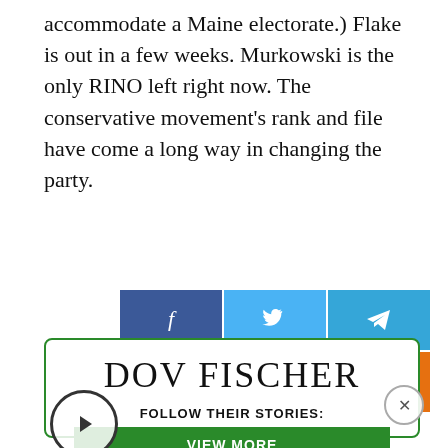accommodate a Maine electorate.) Flake is out in a few weeks. Murkowski is the only RINO left right now. The conservative movement’s rank and file have come a long way in changing the party.
[Figure (infographic): Social media share buttons: Facebook (blue), Twitter (light blue), Telegram (blue), Email (green), Print (orange)]
[Figure (infographic): Author card for Dov Fischer with 'Follow Their Stories:' label and a green 'VIEW MORE' button, plus a play button circle on the left and a close (X) button on the right.]